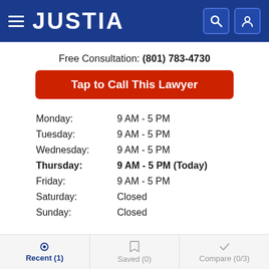JUSTIA
Free Consultation: (801) 783-4730
Tap to Call This Lawyer
| Day | Hours |
| --- | --- |
| Monday: | 9 AM - 5 PM |
| Tuesday: | 9 AM - 5 PM |
| Wednesday: | 9 AM - 5 PM |
| Thursday: | 9 AM - 5 PM (Today) |
| Friday: | 9 AM - 5 PM |
| Saturday: | Closed |
| Sunday: | Closed |
Email Ben Holt
Download vCard
Recent (1)  Saved (0)  Compare (0/3)